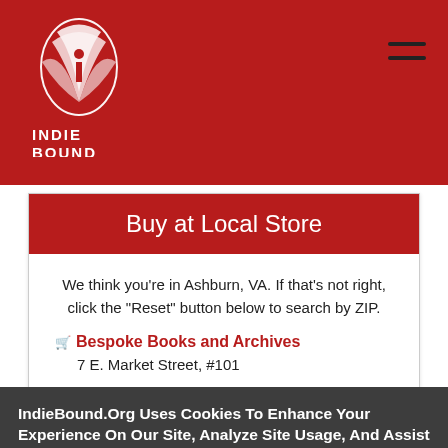[Figure (logo): IndieBound logo — white illustrated bird/book graphic above text 'INDIE BOUND' on dark red header background]
Buy at Local Store
We think you're in Ashburn, VA. If that's not right, click the "Reset" button below to search by ZIP.
Bespoke Books and Archives
7 E. Market Street, #101
IndieBound.Org Uses Cookies To Enhance Your Experience On Our Site, Analyze Site Usage, And Assist In Our Marketing Efforts. By Clicking Accept, You Agree To The Storing Of Cookies On Your Device. View Our Cookie Policy.
Give me more info